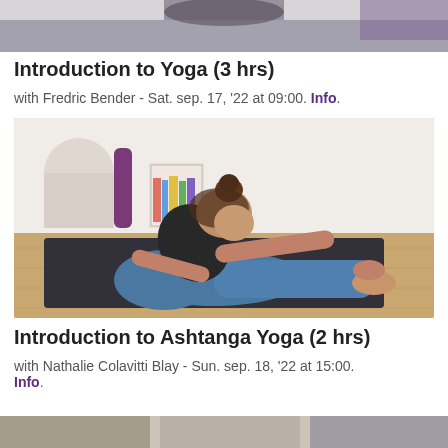[Figure (photo): Partial top portion of a yoga class photo, cropped at top of page]
Introduction to Yoga (3 hrs)
with Fredric Bender - Sat. sep. 17, '22 at 09:00. Info.
[Figure (photo): Woman in black athletic top and blue yoga pants performing a seated forward bend stretch on a dark yoga mat in a bright studio with wooden floors, bookshelf and mat storage in background]
Introduction to Ashtanga Yoga (2 hrs)
with Nathalie Colavitti Blay - Sun. sep. 18, '22 at 15:00. Info.
[Figure (photo): Partial bottom strip of another yoga photo, cropped at bottom of page]